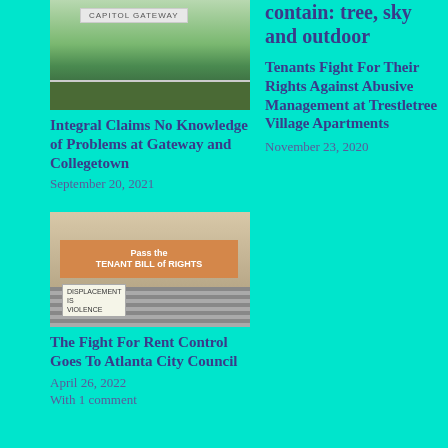[Figure (photo): Photo of Capitol Gateway sign with bushes and greenery]
Integral Claims No Knowledge of Problems at Gateway and Collegetown
September 20, 2021
contain: tree, sky and outdoor
Tenants Fight For Their Rights Against Abusive Management at Trestletree Village Apartments
November 23, 2020
[Figure (photo): Protest photo showing people holding a banner that reads 'Pass the TENANT BILL of RIGHTS' and a sign saying 'DISPLACEMENT IS VIOLENCE']
The Fight For Rent Control Goes To Atlanta City Council
April 26, 2022
With 1 comment